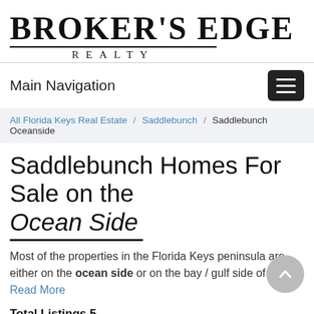BROKER'S EDGE REALTY
Main Navigation
All Florida Keys Real Estate / Saddlebunch / Saddlebunch Oceanside
Saddlebunch Homes For Sale on the Ocean Side
Most of the properties in the Florida Keys peninsula are either on the ocean side or on the bay / gulf side of the Read More
Total Listings 5
Order By: